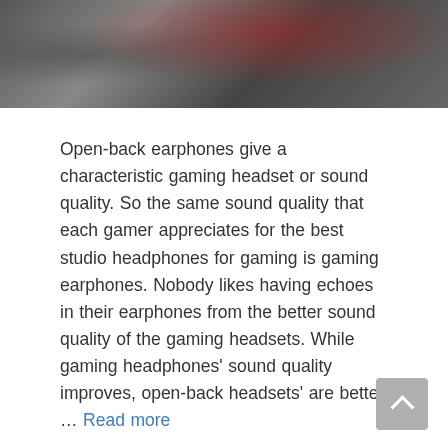[Figure (photo): Partial photo of a person wearing a gaming headset, cropped at top, dark background with red tones]
Open-back earphones give a characteristic gaming headset or sound quality. So the same sound quality that each gamer appreciates for the best studio headphones for gaming is gaming earphones. Nobody likes having echoes in their earphones from the better sound quality of the gaming headsets. While gaming headphones' sound quality improves, open-back headsets' are better … Read more
Headphone, Guide
Leave a comment